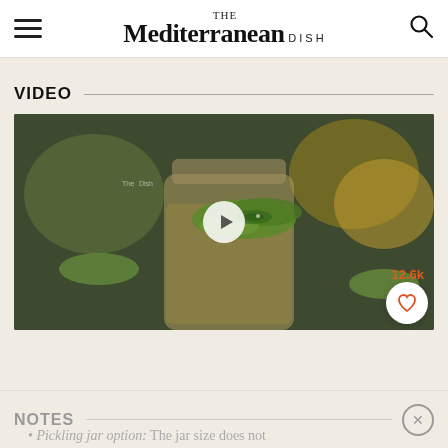THE Mediterranean DISH
VIDEO
[Figure (photo): Video thumbnail showing a glass mason jar with sliced cucumbers and jalapeños in pickling brine, with a white play button overlay. View count 12.6k shown in orange, heart/save button in lower right.]
NOTES
Pickling jar option: The jar size does not...